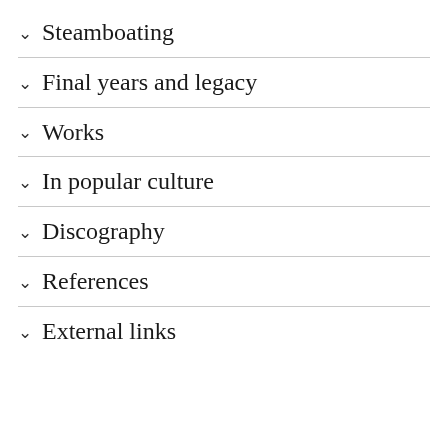Steamboating
Final years and legacy
Works
In popular culture
Discography
References
External links